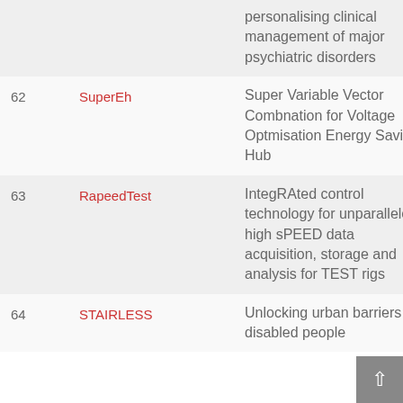| # | Project | Description | Year |
| --- | --- | --- | --- |
|  |  | personalising clinical management of major psychiatric disorders |  |
| 62 | SuperEh | Super Variable Vector Combnation for Voltage Optmisation Energy Saving Hub | 20 |
| 63 | RapeedTest | IntegRAted control technology for unparalleled high sPEED data acquisition, storage and analysis for TEST rigs | 20 |
| 64 | STAIRLESS | Unlocking urban barriers for disabled people | 20 |